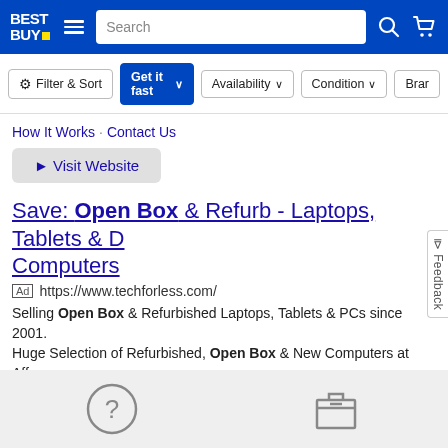Best Buy - Search - Filter & Sort, Get it fast, Availability, Condition, Brand
How It Works · Contact Us
► Visit Website
Save: Open Box & Refurb - Laptops, Tablets & Desktop Computers
Ad https://www.techforless.com/
Selling Open Box & Refurbished Laptops, Tablets & PCs since 2001. Huge Selection of Refurbished, Open Box & New Computers at Affor
★★★★★ advertiser rating
View Specials · Products Available · Contact Us
► Visit Website
[Figure (screenshot): Bottom gray area with question mark icon and box icon]